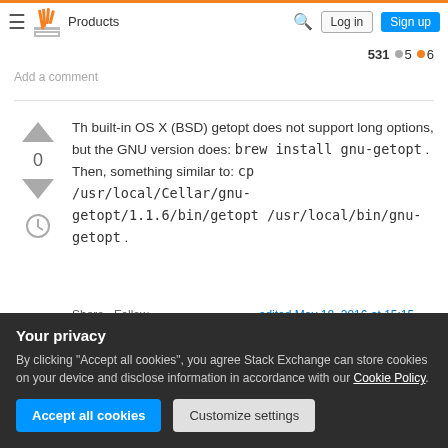Products | Log in | Sign up
531 • 5 • 6
Add a comment
Th built-in OS X (BSD) getopt does not support long options, but the GNU version does: brew install gnu-getopt . Then, something similar to: cp /usr/local/Cellar/gnu-getopt/1.1.6/bin/getopt /usr/local/bin/gnu-getopt .
Share  Follow  edited May 18, 2016 at 15:15
Your privacy
By clicking "Accept all cookies", you agree Stack Exchange can store cookies on your device and disclose information in accordance with our Cookie Policy.